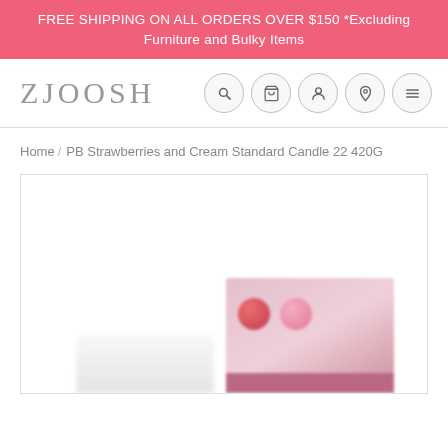FREE SHIPPING ON ALL ORDERS OVER $150 *Excluding Furniture and Bulky Items
[Figure (logo): ZJOOSH brand logo with navigation icons (search, cart, account, location, menu)]
Home / PB Strawberries and Cream Standard Candle 22 420G
[Figure (photo): Product photo of PB Strawberries and Cream Standard Candle 22 420G — a white candle and a pink/red strawberry-decorated box, partially visible and slightly blurred at the bottom of the frame]